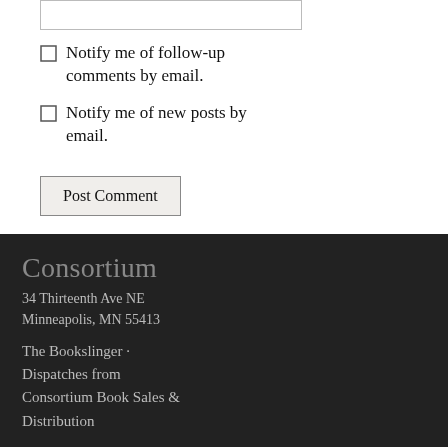Notify me of follow-up comments by email.
Notify me of new posts by email.
Post Comment
Consortium
34 Thirteenth Ave NE
Minneapolis, MN 55413
The Bookslinger · Dispatches from Consortium Book Sales & Distribution